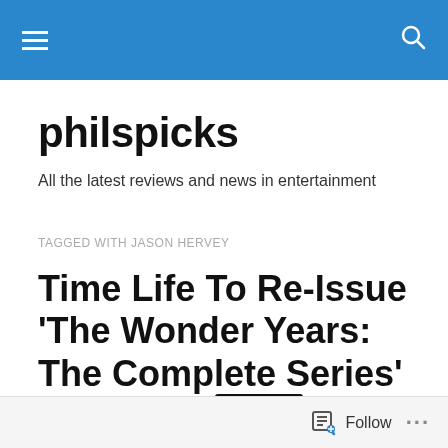philspicks navigation bar
philspicks
All the latest reviews and news in entertainment
TAGGED WITH JASON HERVEY
Time Life To Re-Issue ‘The Wonder Years: The Complete Series’ This Summer
[Figure (photo): Partial view of The Wonder Years Complete Series DVD box set in blue, with film strip imagery on top]
Follow